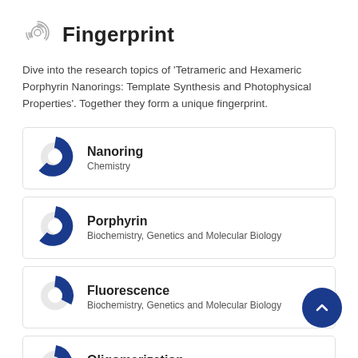Fingerprint
Dive into the research topics of 'Tetrameric and Hexameric Porphyrin Nanorings: Template Synthesis and Photophysical Properties'. Together they form a unique fingerprint.
[Figure (infographic): Donut chart card for Nanoring (Chemistry) — large filled donut ~90% blue]
[Figure (infographic): Donut chart card for Porphyrin (Biochemistry, Genetics and Molecular Biology) — large filled donut ~90% blue]
[Figure (infographic): Donut chart card for Fluorescence (Biochemistry, Genetics and Molecular Biology) — smaller filled donut ~25% blue]
[Figure (infographic): Donut chart card for Oligomerization (Biochemistry, Genetics and Molecular Biology) — smaller filled donut ~20% blue]